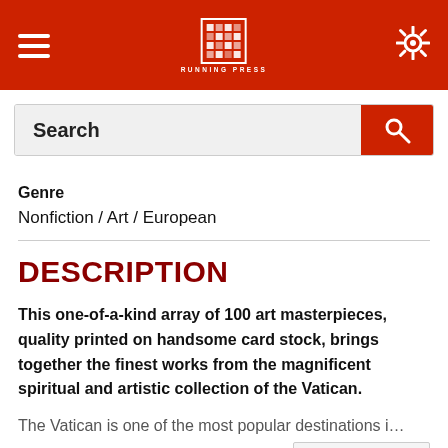Navigation header with hamburger menu, logo, and settings icon
Search
Genre
Nonfiction / Art / European
DESCRIPTION
This one-of-a-kind array of 100 art masterpieces, quality printed on handsome card stock, brings together the finest works from the magnificent spiritual and artistic collection of the Vatican.
The Vatican is one of the most popular destinations i…
Show more